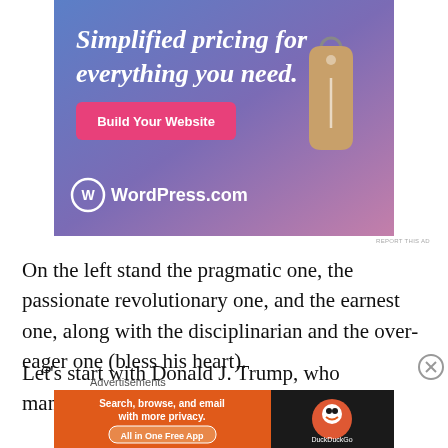[Figure (illustration): WordPress.com advertisement banner with blue-purple gradient background, text 'Simplified pricing for everything you need.', a pink 'Build Your Website' button, a price tag graphic, and WordPress.com logo at bottom left.]
REPORT THIS AD
On the left stand the pragmatic one, the passionate revolutionary one, and the earnest one, along with the disciplinarian and the over-eager one (bless his heart).
Let's start with Donald J. Trump, who many Republicans,
Advertisements
[Figure (illustration): DuckDuckGo advertisement banner with orange left section reading 'Search, browse, and email with more privacy. All in One Free App' and black right section with DuckDuckGo logo.]